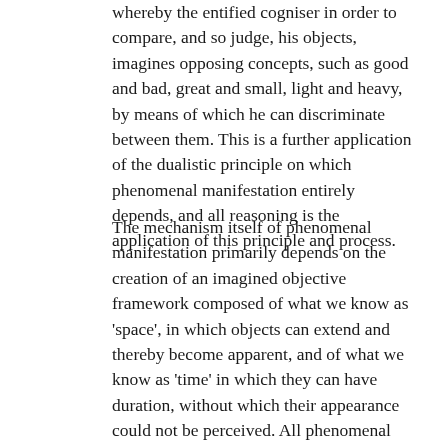whereby the entified cogniser in order to compare, and so judge, his objects, imagines opposing concepts, such as good and bad, great and small, light and heavy, by means of which he can discriminate between them. This is a further application of the dualistic principle on which phenomenal manifestation entirely depends, and all reasoning is the application of this principle and process.
The mechanism itself of phenomenal manifestation primarily depends on the creation of an imagined objective framework composed of what we know as 'space', in which objects can extend and thereby become apparent, and of what we know as 'time' in which they can have duration, without which their appearance could not be perceived. All phenomenal events depend for their extension or apparent occurrence on these two associated factors together known as 'space-time'.